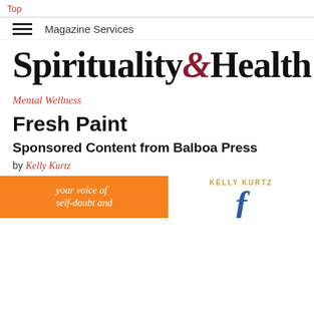Top
Magazine Services
Spirituality & Health
Mental Wellness
Fresh Paint
Sponsored Content from Balboa Press
by Kelly Kurtz
[Figure (illustration): Book cover preview showing orange background with text 'your voice of self-doubt and' on the left, and on the right a gold 'KELLY KURTZ' text above a large decorative blue italic letter]